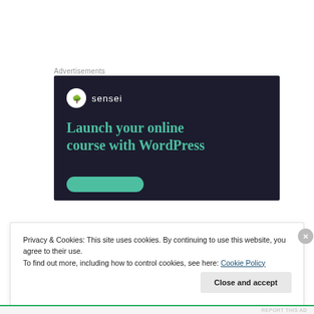Advertisements
[Figure (screenshot): Advertisement banner for Sensei plugin: dark navy background with white circular logo showing a tree icon and the brand name 'sensei', followed by the headline 'Launch your online course with WordPress' in teal/green color, and a teal rounded button at the bottom.]
Privacy & Cookies: This site uses cookies. By continuing to use this website, you agree to their use.
To find out more, including how to control cookies, see here: Cookie Policy
Close and accept